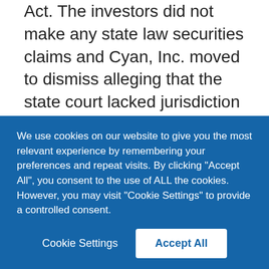Act. The investors did not make any state law securities claims and Cyan, Inc. moved to dismiss alleging that the state court lacked jurisdiction based on the Standards Act.
Justice Kagan, writing the unanimous opinion for the Court, found that state courts retain their longstanding jurisdiction over securities class action lawsuits alleging violations of the 1933 Act. Further, in answering a question posed by the federal government in an amicus brief, the
We use cookies on our website to give you the most relevant experience by remembering your preferences and repeat visits. By clicking "Accept All", you consent to the use of ALL the cookies. However, you may visit "Cookie Settings" to provide a controlled consent.